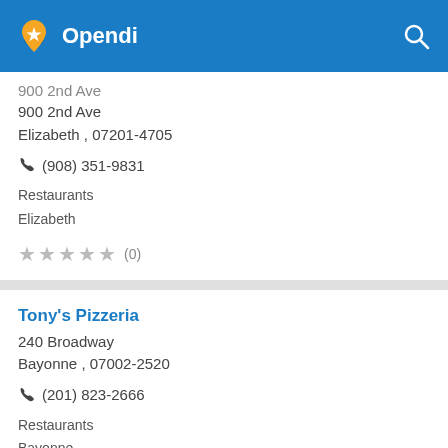Opendi
900 2nd Ave
Elizabeth , 07201-4705
☎ (908) 351-9831
Restaurants
Elizabeth
★★★★★ (0)
Tony's Pizzeria
240 Broadway
Bayonne , 07002-2520
☎ (201) 823-2666
Restaurants
Bayonne
★★★★★ (0)